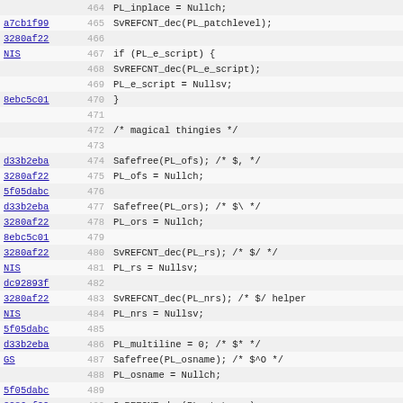[Figure (screenshot): Source code viewer showing git blame output for a Perl source file, lines 464-496, with commit hashes in left column, line numbers in center, and code in right column. Code shows cleanup of Perl interpreter variables.]